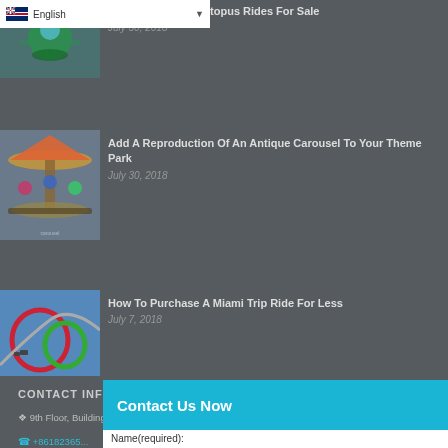[Figure (screenshot): English language selector dropdown with UK flag]
[Figure (photo): Colorful rotary octopus amusement park ride]
The Best Rotary Octopus Rides For Sale
July 30, 2018
[Figure (photo): Antique carousel with colorful horses and decorations]
Add A Reproduction Of An Antique Carousel To Your Theme Park
July 30, 2018
[Figure (photo): Roller coaster track with red and green loops]
How To Purchase A Miami Trip Ride For Less
July 7, 2018
CONTACT INFO
9th Floor, Building of Central China Electronic Commerce Port, Nansanhuan...
+86182365...
Contact Us Now
Name(required):